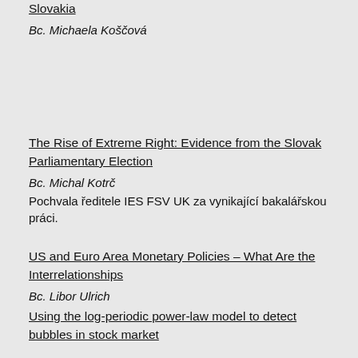The merit order effect of photovoltaic generation in Slovakia
Bc. Michaela Koščová
The Rise of Extreme Right: Evidence from the Slovak Parliamentary Election
Bc. Michal Kotrč
Pochvala ředitele IES FSV UK za vynikající bakalářskou práci.
US and Euro Area Monetary Policies – What Are the Interrelationships
Bc. Libor Ulrich
Using the log-periodic power-law model to detect bubbles in stock market